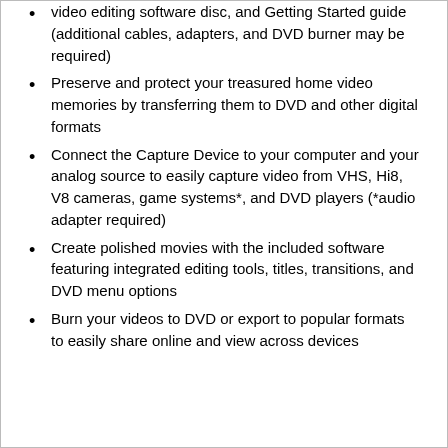video editing software disc, and Getting Started guide (additional cables, adapters, and DVD burner may be required)
Preserve and protect your treasured home video memories by transferring them to DVD and other digital formats
Connect the Capture Device to your computer and your analog source to easily capture video from VHS, Hi8, V8 cameras, game systems*, and DVD players (*audio adapter required)
Create polished movies with the included software featuring integrated editing tools, titles, transitions, and DVD menu options
Burn your videos to DVD or export to popular formats to easily share online and view across devices